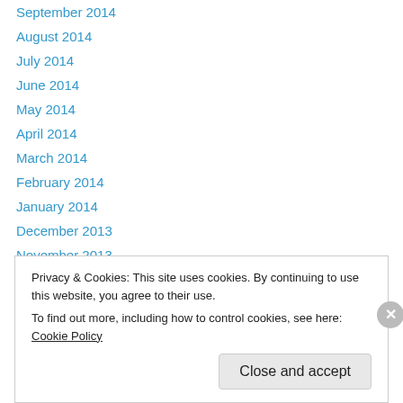September 2014
August 2014
July 2014
June 2014
May 2014
April 2014
March 2014
February 2014
January 2014
December 2013
November 2013
October 2013
September 2013
Privacy & Cookies: This site uses cookies. By continuing to use this website, you agree to their use.
To find out more, including how to control cookies, see here: Cookie Policy
Close and accept